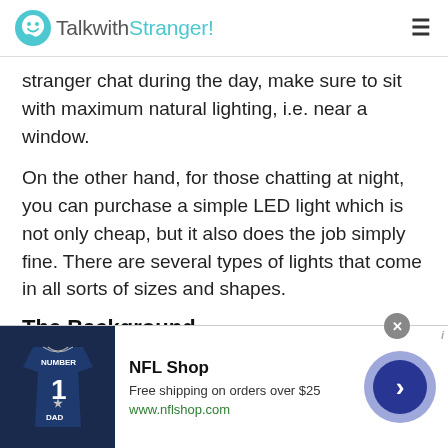TalkwithStranger!
stranger chat during the day, make sure to sit with maximum natural lighting, i.e. near a window.
On the other hand, for those chatting at night, you can purchase a simple LED light which is not only cheap, but it also does the job simply fine. There are several types of lights that come in all sorts of sizes and shapes.
The Background
Do not forget about your background! Your background will be observed constantly while you are in the Peruvian Desi Chat. Make sure you sit somewhere where the
[Figure (screenshot): NFL Shop advertisement banner with jersey image, text 'NFL Shop', 'Free shipping on orders over $25', 'www.nflshop.com', close button, and navigation arrow button]